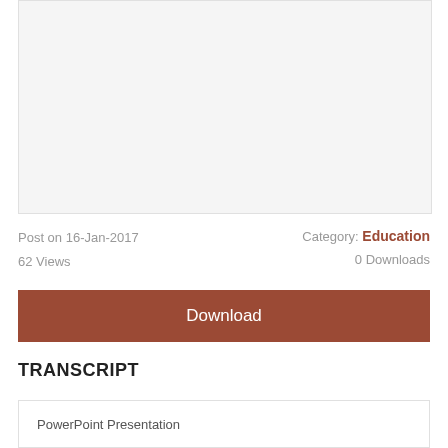[Figure (other): Gray preview/thumbnail placeholder box]
Post on 16-Jan-2017
Category: Education
62 Views
0 Downloads
Download
TRANSCRIPT
PowerPoint Presentation